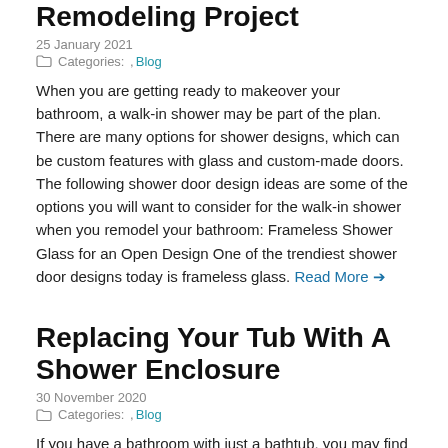Remodeling Project
25 January 2021
Categories:  , Blog
When you are getting ready to makeover your bathroom, a walk-in shower may be part of the plan. There are many options for shower designs, which can be custom features with glass and custom-made doors. The following shower door design ideas are some of the options you will want to consider for the walk-in shower when you remodel your bathroom: Frameless Shower Glass for an Open Design One of the trendiest shower door designs today is frameless glass. Read More →
Replacing Your Tub With A Shower Enclosure
30 November 2020
Categories:  , Blog
If you have a bathroom with just a bathtub, you may find you don't use it. If you are thinking about having the tub removed and putting in a shower, then you'll want to understand that this change can be a big improvement to your bathroom for numerous reasons. Here